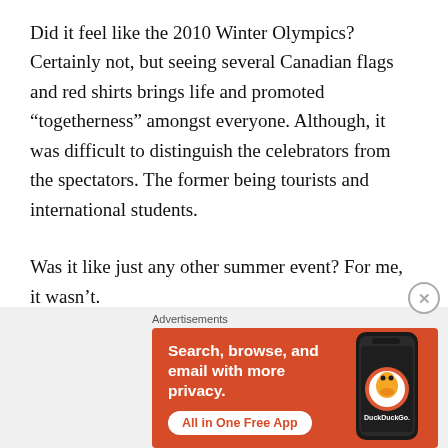Did it feel like the 2010 Winter Olympics? Certainly not, but seeing several Canadian flags and red shirts brings life and promoted “togetherness” amongst everyone. Although, it was difficult to distinguish the celebrators from the spectators. The former being tourists and international students.
Was it like just any other summer event? For me, it wasn’t.
[Figure (other): DuckDuckGo advertisement banner with orange background. Text reads: 'Search, browse, and email with more privacy. All in One Free App' with an image of a smartphone and DuckDuckGo logo and name.]